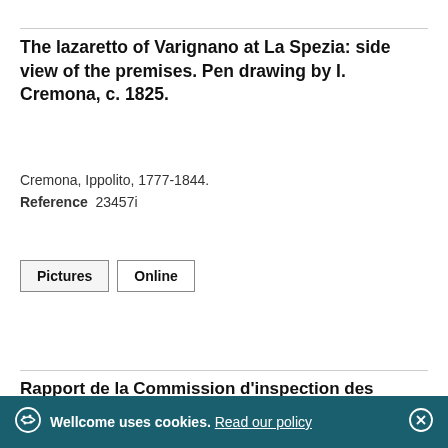The lazaretto of Varignano at La Spezia: side view of the premises. Pen drawing by I. Cremona, c. 1825.
Cremona, Ippolito, 1777-1844.
Reference 23457i
Pictures | Online
Rapport de la Commission d'inspection des lazarets
Wellcome uses cookies. Read our policy